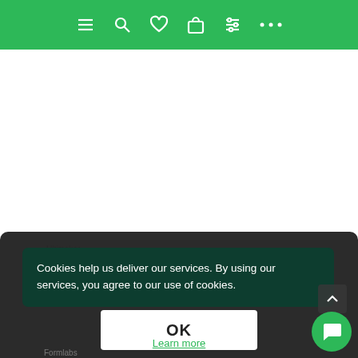Navigation bar with menu, search, wishlist, cart, settings, more icons
[Figure (logo): Dremel DigiLab logo — blue Dremel wordmark above black DIGILAB text]
Cookies help us deliver our services. By using our services, you agree to our use of cookies.
OK
Learn more
Ultimaker
Ultimaker S5 3D Printer
Formlabs